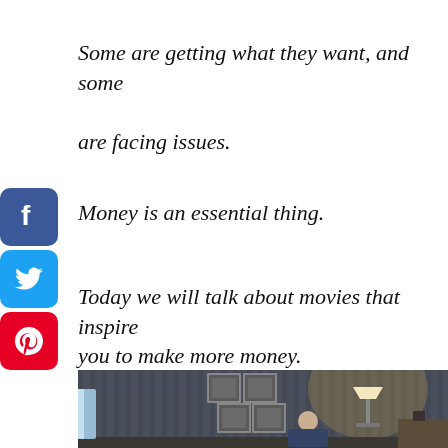Some are getting what they want, and some are facing issues.
Money is an essential thing.
Today we will talk about movies that inspire you to make more money.
[Figure (photo): A person sitting and watching TV in a dimly lit room with framed pictures on the wall and a lamp in the background.]